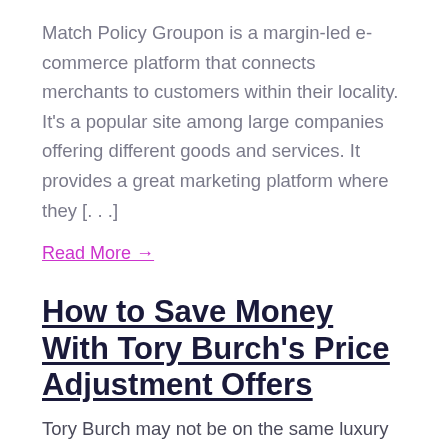Match Policy Groupon is a margin-led e-commerce platform that connects merchants to customers within their locality. It's a popular site among large companies offering different goods and services. It provides a great marketing platform where they [...]
Read More →
How to Save Money With Tory Burch's Price Adjustment Offers
Tory Burch may not be on the same luxury level as Louis Vuitton, Prada, or Gucci, but Tory Burch is synonymous with affordable luxury in the fashion industry. While Tory Burch's pricing is on the higher end, the company does offer price adjustment to its customers, which can help